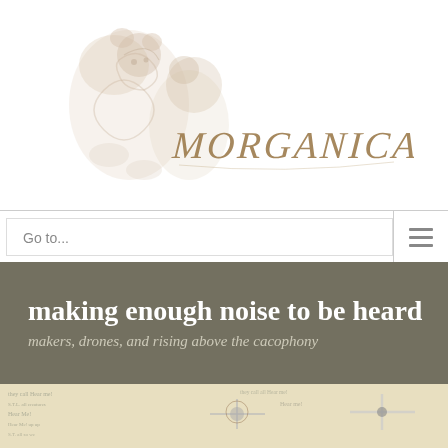[Figure (logo): Morganica logo: hand-drawn illustration of two bears/figures in warm brown tones with the word MORGANICA in stylized hand-lettered script]
[Figure (screenshot): Navigation bar with 'Go to...' text input field and hamburger menu icon on the right]
making enough noise to be heard
makers, drones, and rising above the cacophony
[Figure (photo): Article hero image showing drone/propeller imagery overlaid on aged text background with 'Hear me!' text visible, and a back-to-top arrow button]